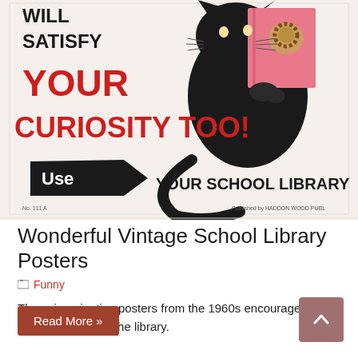[Figure (illustration): Vintage 1960s school library poster showing a black cat holding a pink book, with bold red text 'WILL SATISFY YOUR CURIOSITY TOO!' and black text 'Use YOUR SCHOOL LIBRARY' with an arrow graphic. Small text at bottom reads 'No. 111 A' and 'Published by HADDON WOOD PUBL']
Wonderful Vintage School Library Posters
Funny
These imaginative posters from the 1960s encouraged kids to (gasp!) explore the library.